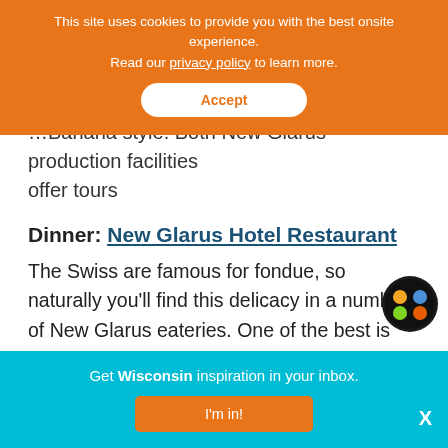This site uses cookies to provide you with the best onsite experience. Read our privacy policy to learn more. Accept
…Banana style. Both New Glarus production facilities offer tours
Dinner: New Glarus Hotel Restaurant
The Swiss are famous for fondue, so naturally you'll find this delicacy in a number of New Glarus eateries. One of the best is the New Glarus Hotel Restaurant, which also offers services specialties like weiner schnitzel and deep-fried cheese curds. If you can't get a table there, try the nearby Glarner Stube, another
Get Wisconsin inspiration in your inbox. I'm in! X